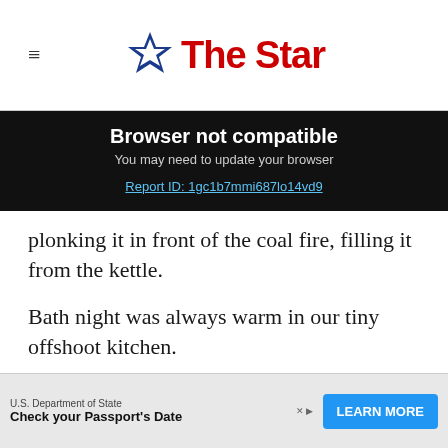The Star
Browser not compatible
You may need to update your browser
Report ID: 1gc1b7mmi687lo14vd9
plonking it in front of the coal fire, filling it from the kettle.
Bath night was always warm in our tiny offshoot kitchen.
If I remember correctly, mom or dad would put the g
[Figure (other): Advertisement banner: U.S. Department of State - Check your Passport's Date - LEARN MORE button]